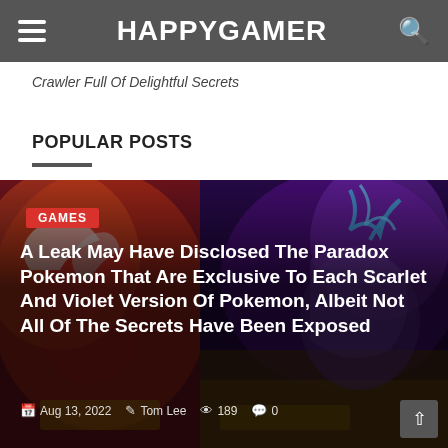HAPPYGAMER
Crawler Full Of Delightful Secrets
POPULAR POSTS
[Figure (photo): Pokemon Scarlet and Violet promotional artwork showing Paradox Pokemon characters on a colorful background]
A Leak May Have Disclosed The Paradox Pokemon That Are Exclusive To Each Scarlet And Violet Version Of Pokemon, Albeit Not All Of The Secrets Have Been Exposed
Aug 13, 2022  Tom Lee  189  0